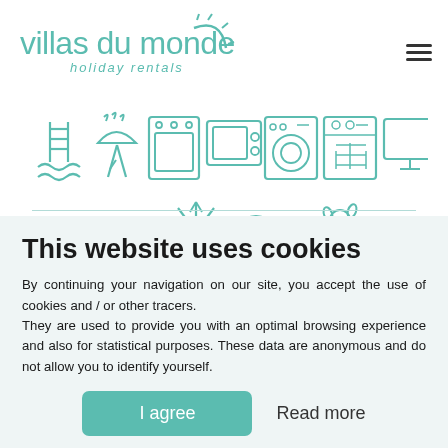[Figure (logo): Villas du monde holiday rentals logo in teal/mint color with a stylized sun icon]
[Figure (infographic): Row of amenity icons in teal outline style: swimming pool, BBQ grill, oven, microwave, washing machine, dishwasher, TV, dog, air conditioning/snowflake, WiFi]
This website uses cookies
By continuing your navigation on our site, you accept the use of cookies and / or other tracers. They are used to provide you with an optimal browsing experience and also for statistical purposes. These data are anonymous and do not allow you to identify yourself.
I agree
Read more